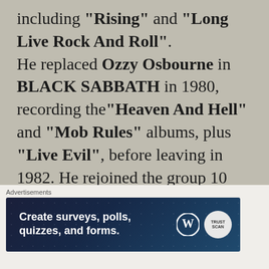including “Rising” and “Long Live Rock And Roll”. He replaced Ozzy Osbourne in BLACK SABBATH in 1980, recording the“Heaven And Hell” and “Mob Rules” albums, plus “Live Evil”, before leaving in 1982. He rejoined the group 10 years later for an album
Advertisements
[Figure (other): Advertisement banner for a surveys, polls, quizzes, and forms creation service, with WordPress and a secondary logo]